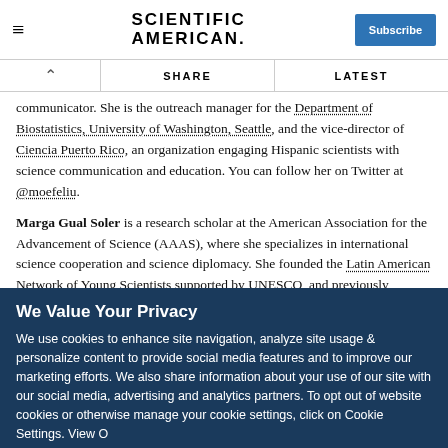Scientific American — Subscribe
communicator. She is the outreach manager for the Department of Biostatistics, University of Washington, Seattle, and the vice-director of Ciencia Puerto Rico, an organization engaging Hispanic scientists with science communication and education. You can follow her on Twitter at @moefeliu.
Marga Gual Soler is a research scholar at the American Association for the Advancement of Science (AAAS), where she specializes in international science cooperation and science diplomacy. She founded the Latin American Network of Young Scientists supported by UNESCO, and previously worked at the United Nations Headquarters in New York
We Value Your Privacy
We use cookies to enhance site navigation, analyze site usage & personalize content to provide social media features and to improve our marketing efforts. We also share information about your use of our site with our social media, advertising and analytics partners. To opt out of website cookies or otherwise manage your cookie settings, click on Cookie Settings. View O